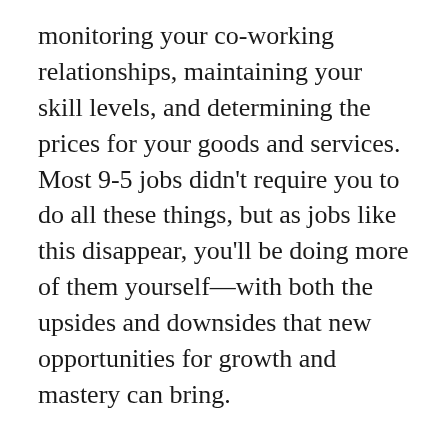monitoring your co-working relationships, maintaining your skill levels, and determining the prices for your goods and services. Most 9-5 jobs didn't require you to do all these things, but as jobs like this disappear, you'll be doing more of them yourself—with both the upsides and downsides that new opportunities for growth and mastery can bring.
Thinking through the hurdles hopefully reminds us of the promises. We'll thrive with greater freedom, convenience and efficiency by working where, when and how we want to. We'll be paid for increments of our time